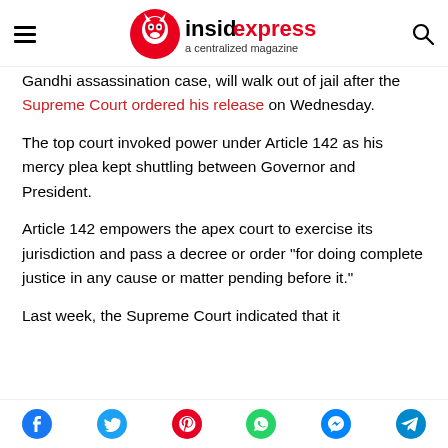insidexpress a centralized magazine
Gandhi assassination case, will walk out of jail after the Supreme Court ordered his release on Wednesday.
The top court invoked power under Article 142 as his mercy plea kept shuttling between Governor and President.
Article 142 empowers the apex court to exercise its jurisdiction and pass a decree or order "for doing complete justice in any cause or matter pending before it."
Last week, the Supreme Court indicated that it